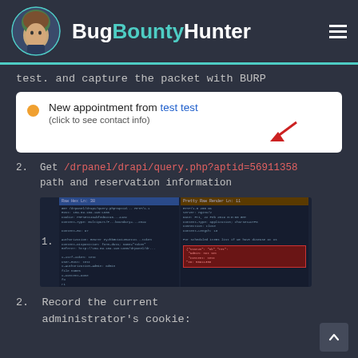BugBountyHunter
test. and capture the packet with BURP
[Figure (screenshot): Notification UI showing: orange dot, 'New appointment from test test' with blue link text, '(click to see contact info)' subtitle, and a red arrow pointing to the link text]
2. Get /drpanel/drapi/query.php?aptid=56911358 path and reservation information
[Figure (screenshot): BURP Suite HTTP request and response panels showing captured request to /drpanel/drapi/query.php and response with reservation data. Left panel shows request with step label '1.' and right panel shows response with highlighted red box around cookie/session data.]
2. Record the current administrator's cookie: